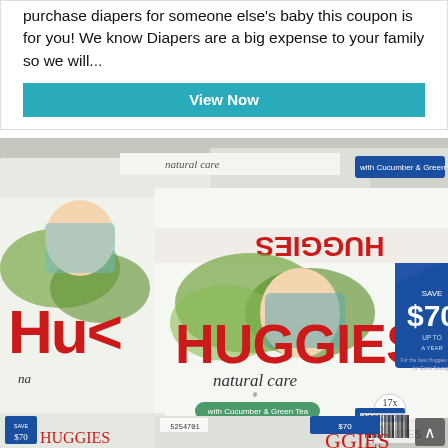purchase diapers for someone else's baby this coupon is for you! We know Diapers are a big expense to your family so we will...
View Now
[Figure (photo): Photo of stacked Huggies Natural Care baby wipes boxes in a store. The main box shows 'HUGGIES natural care with Cucumber & Green Tea REFRESHING, Plant-based wipes with 99% purified water, 1088 WIPES, 17x'. A blue label on the box reads 'SAVE $70 UP TO A YEAR for the best Huggies reward for Extra Savings'. Multiple boxes are stacked showing the Huggies brand and Save $70 pricing labels.]